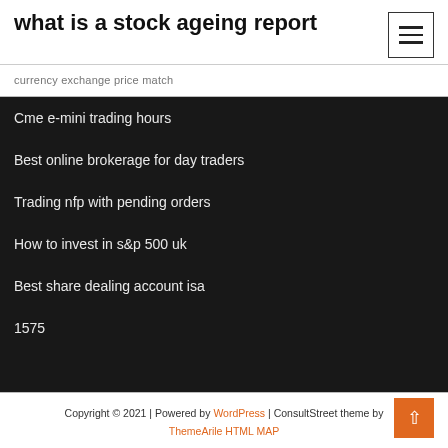what is a stock ageing report
currency exchange price match
Cme e-mini trading hours
Best online brokerage for day traders
Trading nfp with pending orders
How to invest in s&p 500 uk
Best share dealing account isa
1575
Copyright © 2021 | Powered by WordPress | ConsultStreet theme by ThemeArile HTML MAP